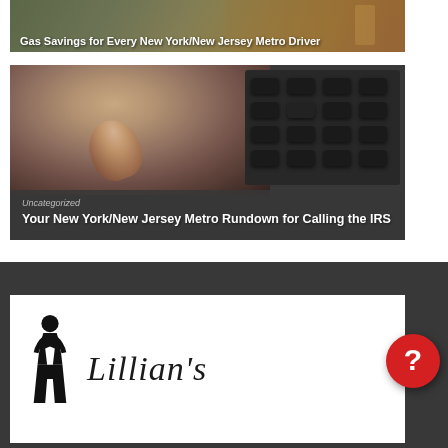[Figure (photo): Top card image showing gas station scene with text overlay 'Gas Savings for Every New York/New Jersey Metro Driver']
Gas Savings for Every New York/New Jersey Metro Driver
[Figure (photo): Middle card image showing person dialing a phone keypad, with overlay text 'Uncategorized' and 'Your New York/New Jersey Metro Rundown for Calling the IRS']
Uncategorized
Your New York/New Jersey Metro Rundown for Calling the IRS
[Figure (logo): Lillian's logo with silhouette figure of a person and cursive Lillian's text on white card background in dark footer section]
[Figure (other): Red circular help/question mark button in lower right corner]